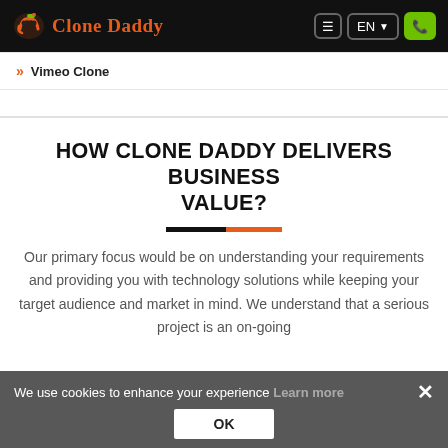Clone Daddy
>> Vimeo Clone
HOW CLONE DADDY DELIVERS BUSINESS VALUE?
Our primary focus would be on understanding your requirements and providing you with technology solutions while keeping your target audience and market in mind. We understand that a serious project is an on-going
We use cookies to enhance your experience Learn more OK